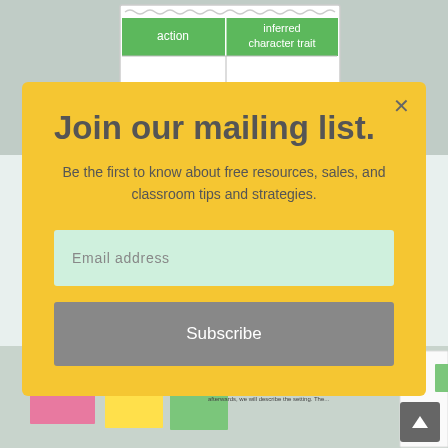[Figure (photo): Background photo of educational worksheet/card showing a table with 'action' and 'inferred character trait' column headers in green]
| action | inferred character trait |
| --- | --- |
|  |  |
Join our mailing list.
Be the first to know about free resources, sales, and classroom tips and strategies.
Email address
Subscribe
[Figure (photo): Background photo of colorful sticky notes and a 'day one' reading worksheet with text about Country Frog by Mo Willems]